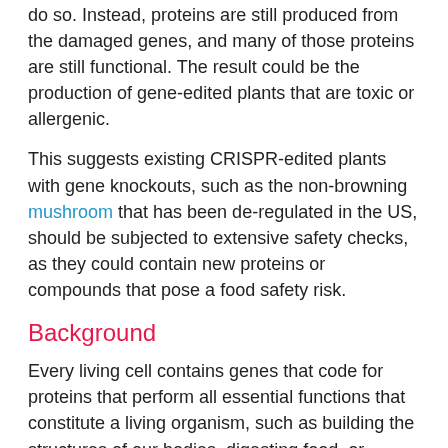do so. Instead, proteins are still produced from the damaged genes, and many of those proteins are still functional. The result could be the production of gene-edited plants that are toxic or allergenic.
This suggests existing CRISPR-edited plants with gene knockouts, such as the non-browning mushroom that has been de-regulated in the US, should be subjected to extensive safety checks, as they could contain new proteins or compounds that pose a food safety risk.
Background
Every living cell contains genes that code for proteins that perform all essential functions that constitute a living organism, such as building the structures of our bodies, digesting food, or sensing the environment. However, many genes, and the proteins they code for, have unknown functions. In humans, one in five genes has an unknown function. One approach that scientists use to